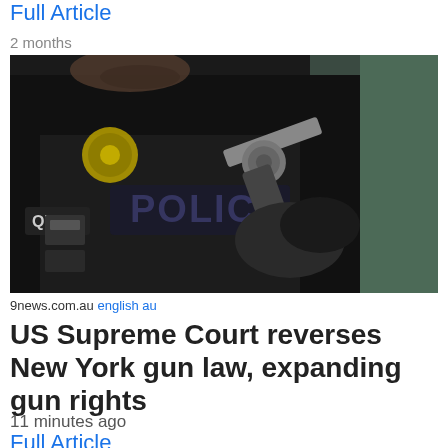Full Article
2 months
[Figure (photo): A police officer in black tactical gear labeled 'POLICE' and badge number Q72, holding a revolver handgun with black gloves.]
9news.com.au english au
US Supreme Court reverses New York gun law, expanding gun rights
11 minutes ago
Full Article